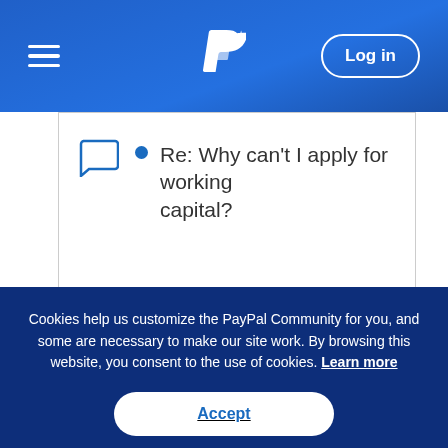PayPal — hamburger menu, PayPal logo, Log in button
Re: Why can't I apply for working capital?
Cookies help us customize the PayPal Community for you, and some are necessary to make our site work. By browsing this website, you consent to the use of cookies. Learn more
Accept
Reject